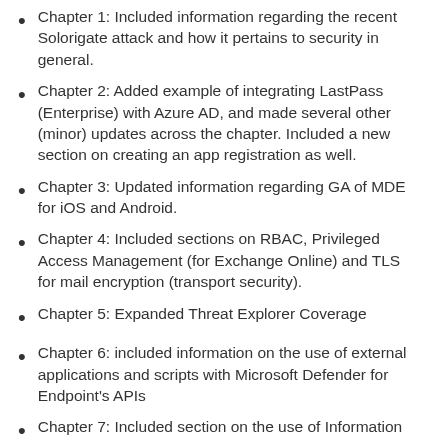Chapter 1: Included information regarding the recent Solorigate attack and how it pertains to security in general.
Chapter 2: Added example of integrating LastPass (Enterprise) with Azure AD, and made several other (minor) updates across the chapter. Included a new section on creating an app registration as well.
Chapter 3: Updated information regarding GA of MDE for iOS and Android.
Chapter 4: Included sections on RBAC, Privileged Access Management (for Exchange Online) and TLS for mail encryption (transport security).
Chapter 5: Expanded Threat Explorer Coverage
Chapter 6: included information on the use of external applications and scripts with Microsoft Defender for Endpoint's APIs
Chapter 7: Included section on the use of Information